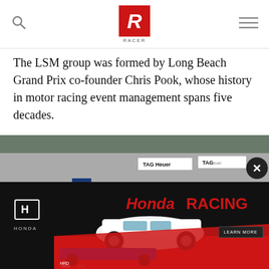RACER logo with search and hamburger menu icons
The LSM group was formed by Long Beach Grand Prix co-founder Chris Pook, whose history in motor racing event management spans five decades.
[Figure (photo): Racing photo at WeatherTech Raceway Laguna Seca showing IndyCars on track with Firestone and TAG Heuer sponsorship banners and crowded grandstands]
[Figure (photo): Honda Racing advertisement banner showing a white Honda car and IndyCar with Honda and Honda Racing branding, Learn More button]